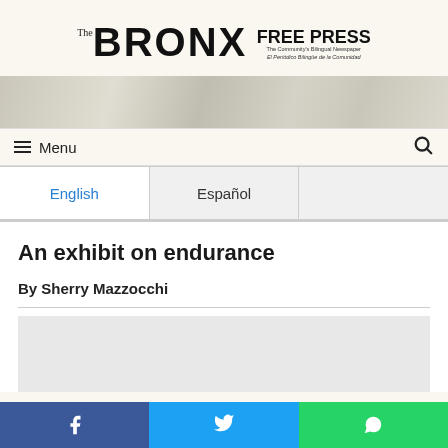The BRONX FREE PRESS - The Community's Bilingual Newspaper / El Periódico Bilingüe de la Comunidad
[Figure (photo): Newspaper website header banner with faded background imagery]
Menu (navigation bar with hamburger icon and search icon)
| English | Español |  |
| --- | --- | --- |
|  |
An exhibit on endurance
By Sherry Mazzocchi